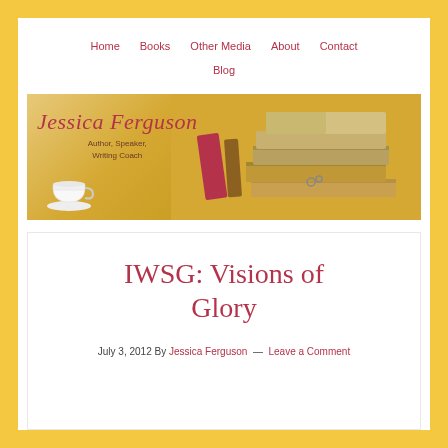Home  Books  Other Media  About  Contact  Blog
[Figure (illustration): Jessica Ferguson website banner showing stacked books and a coffee cup on a warm yellow-toned background, with the text 'Jessica Ferguson' in red italic script and 'Author, Speaker, Writing Coach' below]
IWSG: Visions of Glory
July 3, 2012 By Jessica Ferguson — Leave a Comment